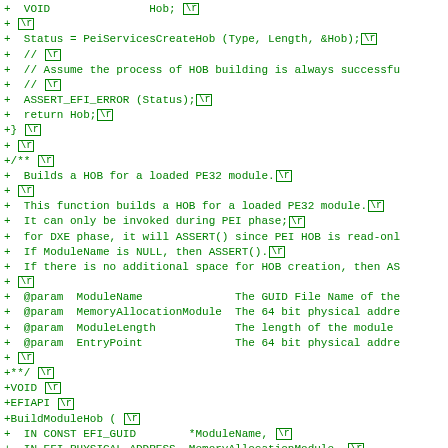[Figure (other): Code diff showing C source code additions (green +) for HOB building functions including BuildModuleHob, with \r markers indicating line endings]